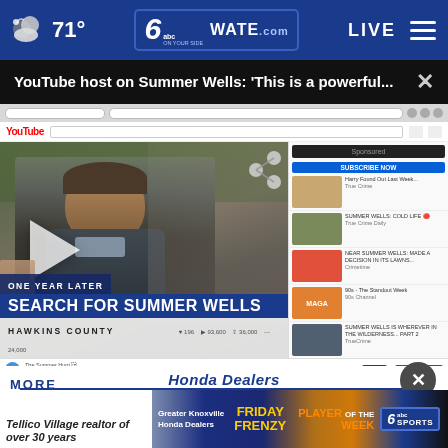71° WATE.com | LIVE
YouTube host on Summer Wells: 'This is a powerful...  ×
[Figure (screenshot): Screenshot of YouTube page showing a video titled 'Search for Summer Wells - One Year Later - Hawkins County' with a man in a dark jacket visible in the video player. A play button is overlaid on the left side. The YouTube sidebar shows related video thumbnails. Lower third graphic reads 'ONE YEAR LATER / SEARCH FOR SUMMER WELLS / HAWKINS COUNTY'. A share icon is visible in the upper right of the video.]
MORE
[Figure (screenshot): Advertisement banner for Greater Knoxville Honda Dealers Friday Frenzy Player of the Week with 6 ABC Sports logo]
Tellico Village realtor of over 30 years